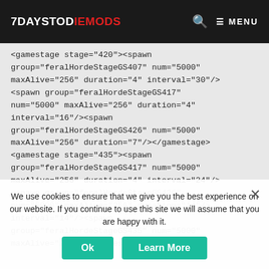7DAYSTODIEMODS  🔍 ≡ MENU
<gamestage stage="420"><spawn group="feralHordeStageGS407" num="5000" maxAlive="256" duration="4" interval="30"/><spawn group="feralHordeStageGS417" num="5000" maxAlive="256" duration="4" interval="16"/><spawn group="feralHordeStageGS426" num="5000" maxAlive="256" duration="7"/></gamestage><gamestage stage="435"><spawn group="feralHordeStageGS417" num="5000" maxAlive="256" duration="4" interval="24"/><spawn group="feralHordeStageGS426" num="5000" maxAlive="256" duration="14"/><spawn group="feralHordeStageGS435" num="5000" maxAlive="256" interval="14"/></gamestage>
We use cookies to ensure that we give you the best experience on our website. If you continue to use this site we will assume that you are happy with it.